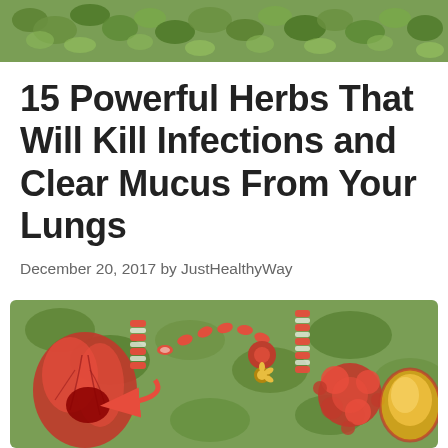[Figure (photo): Close-up photo of green herb leaves (thyme or similar herb) forming a natural background, cropped to a narrow strip at the top of the page.]
15 Powerful Herbs That Will Kill Infections and Clear Mucus From Your Lungs
December 20, 2017 by JustHealthyWay
[Figure (illustration): Medical illustration showing lungs with mucus/infection, connected to bronchial tubes with red and white striped segments, alongside depictions of bacteria/infection clusters (red spherical masses) and a yellow mucus blob, all set against a green herbal background.]